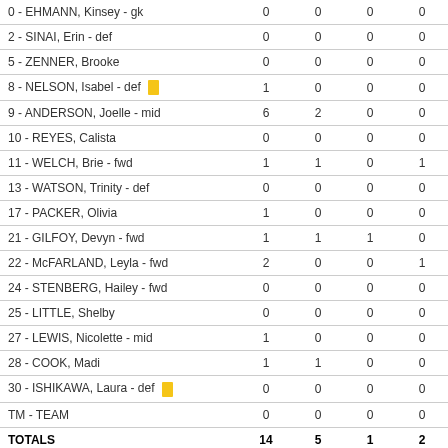| Player |  |  |  |  |
| --- | --- | --- | --- | --- |
| 0 - EHMANN, Kinsey - gk | 0 | 0 | 0 | 0 |
| 2 - SINAI, Erin - def | 0 | 0 | 0 | 0 |
| 5 - ZENNER, Brooke | 0 | 0 | 0 | 0 |
| 8 - NELSON, Isabel - def [yellow] | 1 | 0 | 0 | 0 |
| 9 - ANDERSON, Joelle - mid | 6 | 2 | 0 | 0 |
| 10 - REYES, Calista | 0 | 0 | 0 | 0 |
| 11 - WELCH, Brie - fwd | 1 | 1 | 0 | 1 |
| 13 - WATSON, Trinity - def | 0 | 0 | 0 | 0 |
| 17 - PACKER, Olivia | 1 | 0 | 0 | 0 |
| 21 - GILFOY, Devyn - fwd | 1 | 1 | 1 | 0 |
| 22 - McFARLAND, Leyla - fwd | 2 | 0 | 0 | 1 |
| 24 - STENBERG, Hailey - fwd | 0 | 0 | 0 | 0 |
| 25 - LITTLE, Shelby | 0 | 0 | 0 | 0 |
| 27 - LEWIS, Nicolette - mid | 1 | 0 | 0 | 0 |
| 28 - COOK, Madi | 1 | 1 | 0 | 0 |
| 30 - ISHIKAWA, Laura - def [yellow] | 0 | 0 | 0 | 0 |
| TM - TEAM | 0 | 0 | 0 | 0 |
| TOTALS | 14 | 5 | 1 | 2 |